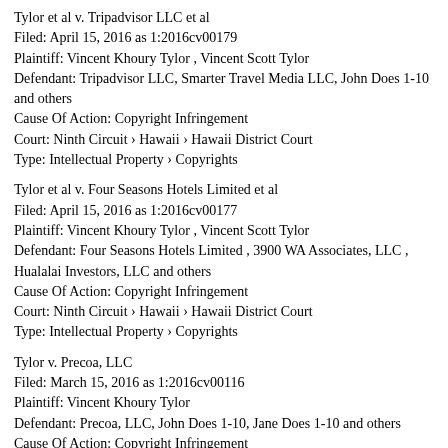Tylor et al v. Tripadvisor LLC et al
Filed: April 15, 2016 as 1:2016cv00179
Plaintiff: Vincent Khoury Tylor , Vincent Scott Tylor
Defendant: Tripadvisor LLC, Smarter Travel Media LLC, John Does 1-10 and others
Cause Of Action: Copyright Infringement
Court: Ninth Circuit › Hawaii › Hawaii District Court
Type: Intellectual Property › Copyrights
Tylor et al v. Four Seasons Hotels Limited et al
Filed: April 15, 2016 as 1:2016cv00177
Plaintiff: Vincent Khoury Tylor , Vincent Scott Tylor
Defendant: Four Seasons Hotels Limited , 3900 WA Associates, LLC , Hualalai Investors, LLC and others
Cause Of Action: Copyright Infringement
Court: Ninth Circuit › Hawaii › Hawaii District Court
Type: Intellectual Property › Copyrights
Tylor v. Precoa, LLC
Filed: March 15, 2016 as 1:2016cv00116
Plaintiff: Vincent Khoury Tylor
Defendant: Precoa, LLC, John Does 1-10, Jane Does 1-10 and others
Cause Of Action: Copyright Infringement
Court: Ninth Circuit › Hawaii › Hawaii District Court